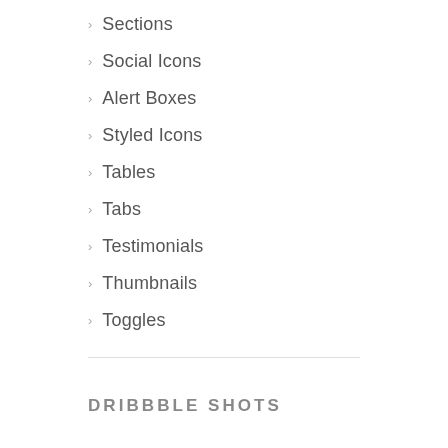Sections
Social Icons
Alert Boxes
Styled Icons
Tables
Tabs
Testimonials
Thumbnails
Toggles
DRIBBBLE SHOTS